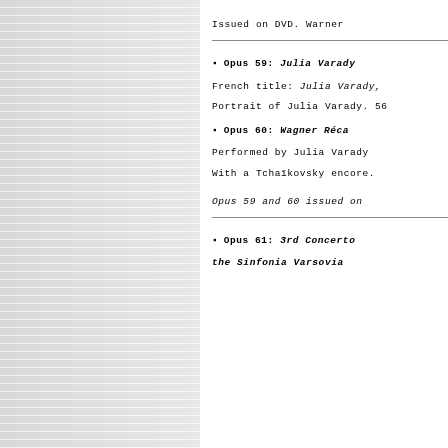Issued on DVD. Warner
Opus 59: Julia Varady
French title: Julia Varady,
Portrait of Julia Varady. 56
Opus 60: Wagner Réca
Performed by Julia Varady
With a Tchaïkovsky encore.
Opus 59 and 60 issued on
Opus 61: 3rd Concerto the Sinfonia Varsovia